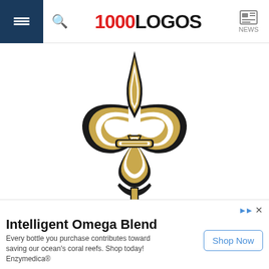1000LOGOS NEWS
[Figure (logo): New Orleans Saints fleur-de-lis logo in gold and black on white background]
To begin with, you can hardly find anything that has a link to football or at least sports. And
Intelligent Omega Blend
Every bottle you purchase contributes toward saving our ocean's coral reefs. Shop today! Enzymedica®